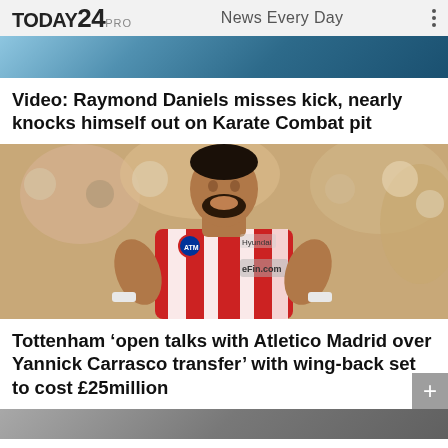TODAY24 PRO   News Every Day
[Figure (photo): Partial top image showing sports/action scene, cropped]
Video: Raymond Daniels misses kick, nearly knocks himself out on Karate Combat pit
[Figure (photo): Soccer player Yannick Carrasco in red and white Atletico Madrid striped jersey with HyundaiHYUL and eFin.com sponsor logos, gesturing with hands outstretched, crowd in background]
Tottenham ‘open talks with Atletico Madrid over Yannick Carrasco transfer’ with wing-back set to cost £25million
[Figure (photo): Partial bottom image, partially visible]